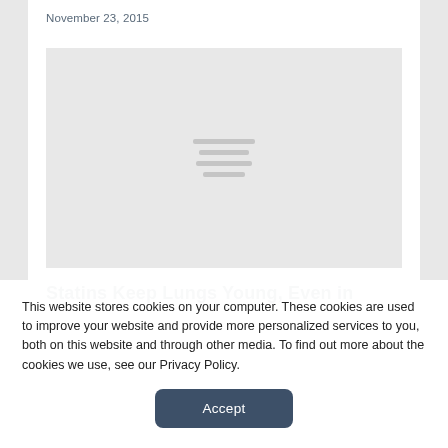November 23, 2015
[Figure (photo): Gray image placeholder with three horizontal lines in the center indicating a loading or unavailable image]
Statins Keep Lungs Young, Even in
This website stores cookies on your computer. These cookies are used to improve your website and provide more personalized services to you, both on this website and through other media. To find out more about the cookies we use, see our Privacy Policy.